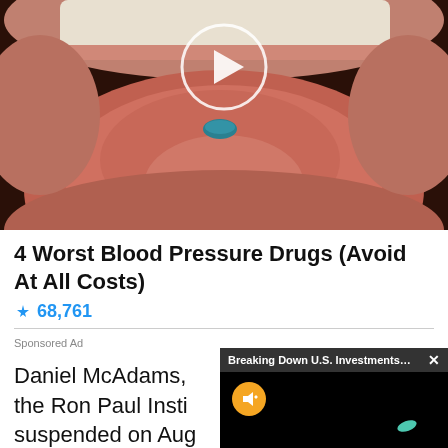[Figure (photo): Close-up photo of a person's open mouth with tongue out, a small blue pill on the tongue, with a white play button circle overlay in the center]
4 Worst Blood Pressure Drugs (Avoid At All Costs)
🔥 68,761
Sponsored Ad
Daniel McAdams, the Ron Paul Insti suspended on Aug
The...
[Figure (screenshot): Video popup overlay: 'Breaking Down U.S. Investments in ...' title bar with X close button, black video area with orange mute button and a small blue-green object visible]